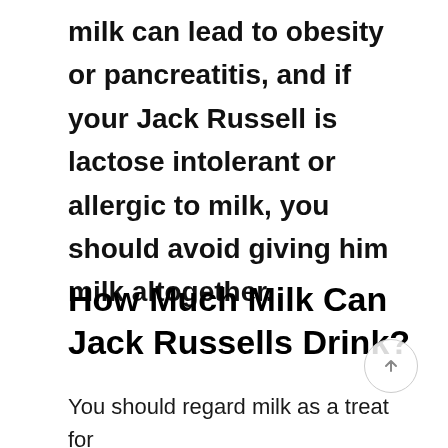milk can lead to obesity or pancreatitis, and if your Jack Russell is lactose intolerant or allergic to milk, you should avoid giving him milk altogether.
How Much Milk Can Jack Russells Drink?
You should regard milk as a treat for